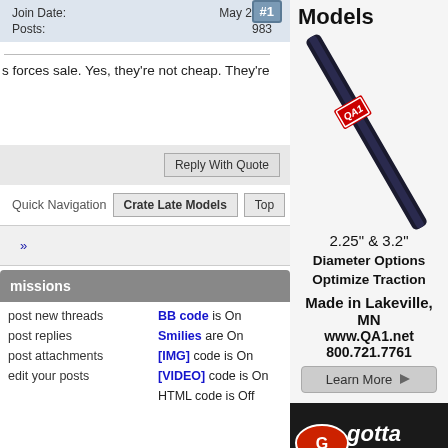Join Date: May 2007
Posts: 983
s forces sale. Yes, they're not cheap. They're
Reply With Quote
Quick Navigation   Crate Late Models   Top
»
missions
post new threads   BB code is On
post replies   Smilies are On
post attachments   [IMG] code is On
edit your posts   [VIDEO] code is On
HTML code is Off
[Figure (advertisement): QA1 shock absorber advertisement showing a black shock shaft with QA1 logo label, text: Models, 2.25" & 3.2" Diameter Options Optimize Traction, Made in Lakeville, MN, www.QA1.net, 800.721.7761, Learn More button]
[Figure (logo): Gotta Race .com logo on dark background]